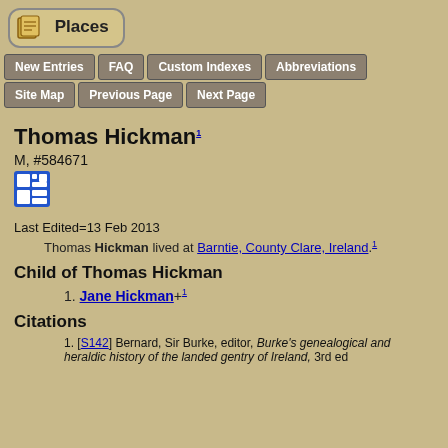Places
New Entries | FAQ | Custom Indexes | Abbreviations | Site Map | Previous Page | Next Page
Thomas Hickman1
M, #584671
Last Edited=13 Feb 2013
Thomas Hickman lived at Barntie, County Clare, Ireland.1
Child of Thomas Hickman
1. Jane Hickman+1
Citations
1. [S142] Bernard, Sir Burke, editor, Burke's genealogical and heraldic history of the landed gentry of Ireland, 3rd ed